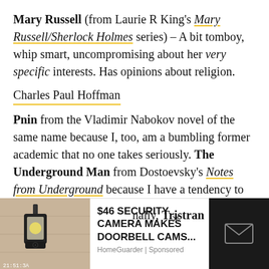Mary Russell (from Laurie R King's Mary Russell/Sherlock Holmes series) – A bit tomboy, whip smart, uncompromising about her very specific interests. Has opinions about religion.
Charles Paul Hoffman
Pnin from the Vladimir Nabokov novel of the same name because I, too, am a bumbling former academic that no one takes seriously. The Underground Man from Dostoevsky's Notes from Underground because I have a tendency to sit alone
[Figure (screenshot): Advertisement overlay: security camera ad with image of wall lantern/camera on left, text '$46 SECURITY CAMERA MAKES DOORBELL CAMS...' in center, close button X, HomeGuarder | Sponsored label, and dark right panel with envelope icon]
nally, Tristran